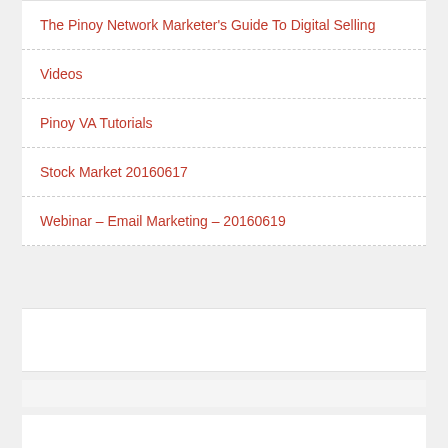The Pinoy Network Marketer's Guide To Digital Selling
Videos
Pinoy VA Tutorials
Stock Market 20160617
Webinar – Email Marketing – 20160619